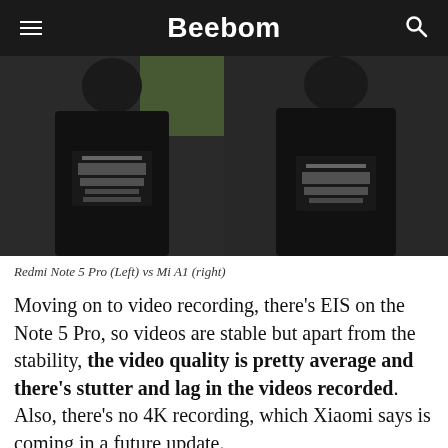Beebom
[Figure (photo): Two side-by-side comparison photos of a person wearing a black t-shirt with text/graphic design. Left photo is from Redmi Note 5 Pro, right photo is from Mi A1.]
Redmi Note 5 Pro (Left) vs Mi A1 (right)
Moving on to video recording, there’s EIS on the Note 5 Pro, so videos are stable but apart from the stability, the video quality is pretty average and there’s stutter and lag in the videos recorded. Also, there’s no 4K recording, which Xiaomi says is coming in a future update.
WELL, OVERALL, THE CAMERA